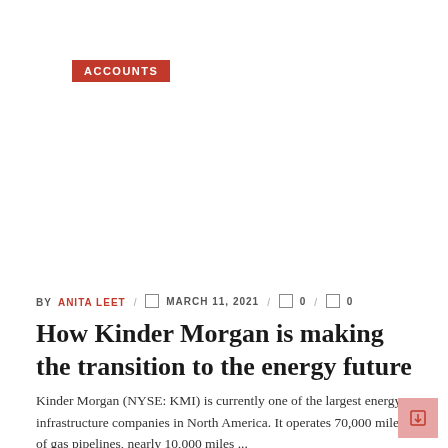ACCOUNTS
BY ANITA LEET / MARCH 11, 2021 / 0 / 0
How Kinder Morgan is making the transition to the energy future
Kinder Morgan (NYSE: KMI) is currently one of the largest energy infrastructure companies in North America. It operates 70,000 miles of gas pipelines, nearly 10,000 miles ...